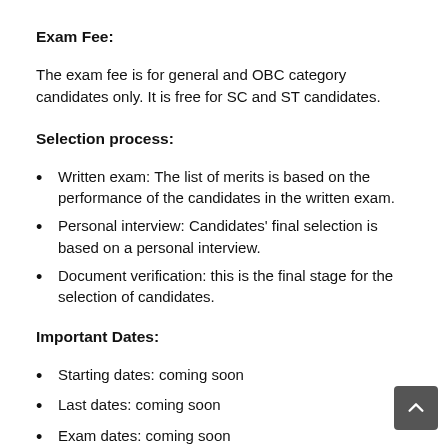Exam Fee:
The exam fee is for general and OBC category candidates only. It is free for SC and ST candidates.
Selection process:
Written exam: The list of merits is based on the performance of the candidates in the written exam.
Personal interview: Candidates' final selection is based on a personal interview.
Document verification: this is the final stage for the selection of candidates.
Important Dates:
Starting dates: coming soon
Last dates: coming soon
Exam dates: coming soon